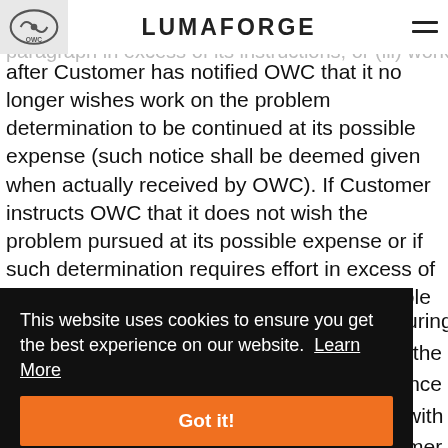OWC | LUMAFORGE
problem determination or repair to the extent problems are due to [text cut off] under this paragraph in excess of its instructions; or (iii) work performed after Customer has notified OWC that it no longer wishes work on the problem determination to be continued at its possible expense (such notice shall be deemed given when actually received by OWC). If Customer instructs OWC that it does not wish the problem pursued at its possible expense or if such determination requires effort in excess of Customer's instructions, OWC may, at its sole discretion, elect not to
[Figure (screenshot): Cookie consent banner overlay with black background reading 'This website uses cookies to ensure you get the best experience on our website. Learn More' and an orange 'Got it!' button]
uring the nce with mer, and
(ii) OWC's Support terms for such Software located at